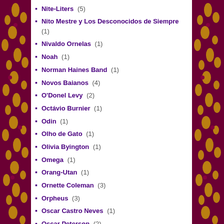Nite-Liters (5)
Nito Mestre y Los Desconocidos de Siempre (1)
Nivaldo Ornelas (1)
Noah (1)
Norman Haines Band (1)
Novos Baianos (4)
O'Donel Levy (2)
Octávio Burnier (1)
Odin (1)
Olho de Gato (1)
Olivia Byington (1)
Omega (1)
Orang-Utan (1)
Ornette Coleman (3)
Orpheus (3)
Oscar Castro Neves (1)
Oscar Peterson (2)
Osibisa (4)
Otis Redding (2)
Otis Rush (2)
Otis Spann (1)
Outlaw Blues Band (1)